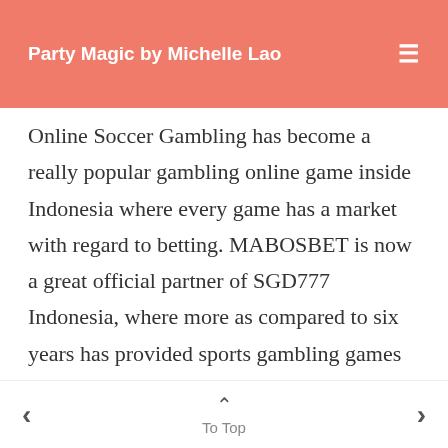Party Magic by Michelle Lao
Online Soccer Gambling has become a really popular gambling online game inside Indonesia where every game has a market with regard to betting. MABOSBET is now a great official partner of SGD777 Indonesia, where more as compared to six years has provided sports gambling games for wagering players in Indonesia. This particular SBOBET Soccer Gambling Marketplace
< To Top >